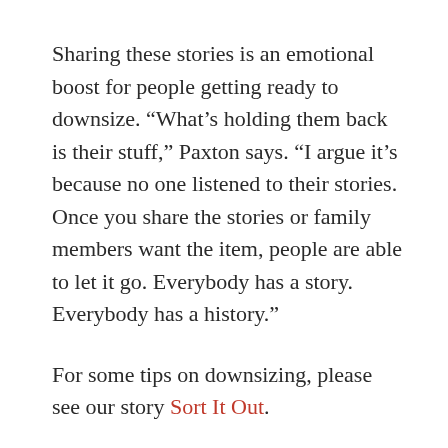Sharing these stories is an emotional boost for people getting ready to downsize. “What’s holding them back is their stuff,” Paxton says. “I argue it’s because no one listened to their stories. Once you share the stories or family members want the item, people are able to let it go. Everybody has a story. Everybody has a history.”
For some tips on downsizing, please see our story Sort It Out.